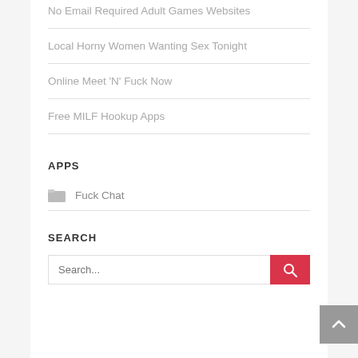No Email Required Adult Games Websites
Local Horny Women Wanting Sex Tonight
Online Meet 'N' Fuck Now
Free MILF Hookup Apps
APPS
Fuck Chat
SEARCH
Search...